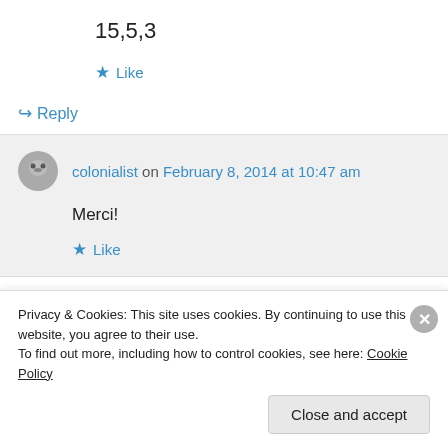15,5,3
★ Like
↪ Reply
colonialist on February 8, 2014 at 10:47 am
Merci!
★ Like
Privacy & Cookies: This site uses cookies. By continuing to use this website, you agree to their use.
To find out more, including how to control cookies, see here: Cookie Policy
Close and accept